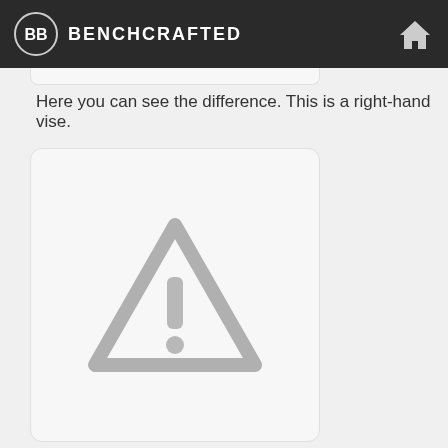BENCHCRAFTED
Here you can see the difference. This is a right-hand vise.
[Figure (illustration): A placeholder image card with a grey warning/caution triangle icon (exclamation mark) centered inside a rounded-corner white card, indicating a missing or unavailable image.]